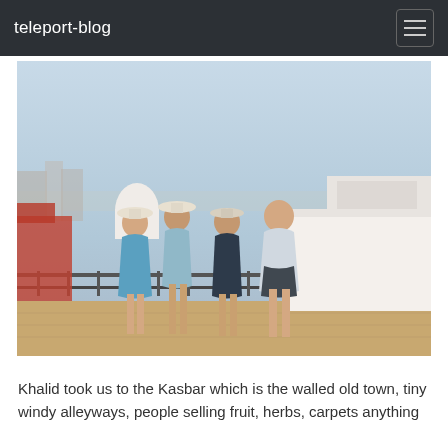teleport-blog
[Figure (photo): Four people posing on a rooftop terrace with a white wall and iron railing, with a cityscape and hazy sky in the background. Two women and two men, some wearing hats, casually dressed.]
Khalid took us to the Kasbar which is the walled old town, tiny windy alleyways, people selling fruit, herbs, carpets anything